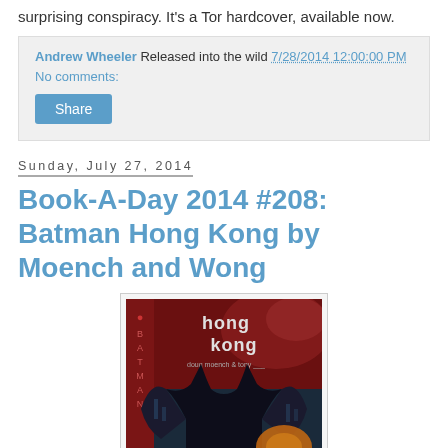surprising conspiracy. It's a Tor hardcover, available now.
Andrew Wheeler Released into the wild 7/28/2014 12:00:00 PM
No comments:
[Figure (other): Share button]
Sunday, July 27, 2014
Book-A-Day 2014 #208: Batman Hong Kong by Moench and Wong
[Figure (photo): Book cover of Batman Hong Kong by Moench and Wong, showing Batman in dark costume against a red and teal Hong Kong cityscape background with Chinese characters along the left side]